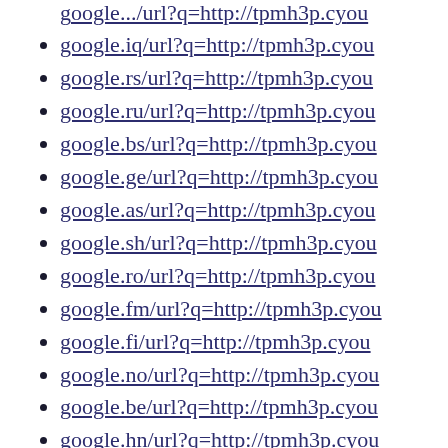google.iq/url?q=http://tpmh3p.cyou
google.rs/url?q=http://tpmh3p.cyou
google.ru/url?q=http://tpmh3p.cyou
google.bs/url?q=http://tpmh3p.cyou
google.ge/url?q=http://tpmh3p.cyou
google.as/url?q=http://tpmh3p.cyou
google.sh/url?q=http://tpmh3p.cyou
google.ro/url?q=http://tpmh3p.cyou
google.fm/url?q=http://tpmh3p.cyou
google.fi/url?q=http://tpmh3p.cyou
google.no/url?q=http://tpmh3p.cyou
google.be/url?q=http://tpmh3p.cyou
google.hn/url?q=http://tpmh3p.cyou
google.sm/url?q=http://tpmh3p.cyou
google.pl/url?q=http://tpmh3p.cyou
gngjd.com/url?q=http://tpmh3p.cyou
google.ki/url?q=http://tpmh3p.cyou
google.lk/url?q=http://tpmh3p.cyou